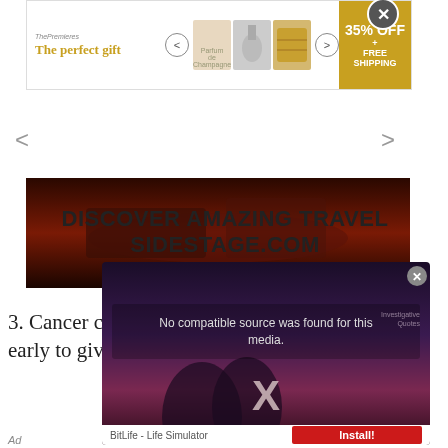[Figure (screenshot): Advertisement banner with 'The perfect gift' text, product images (perfume/champagne/cheese), navigation arrows, and '35% OFF + FREE SHIPPING' gold badge. X close button top right.]
[Figure (screenshot): Slideshow image showing a dark reddish-brown rocky landscape scene with navigation arrows on sides. Below: 'DISCOVER AMAZING TRAVEL SIDESTAGE.COM' in bold black text.]
DISCOVER AMAZING TRAVEL SIDESTAGE.COM
3. Cancer can be found all over the world; it's too early to give up, fight medically and emotionally.
[Figure (screenshot): Video overlay popup showing 'No compatible source was found for this media.' text over a dark purple/pink romantic silhouette background. Has a large X close mark in center and small close button top right. BitLife - Life Simulator ad with Install button at bottom.]